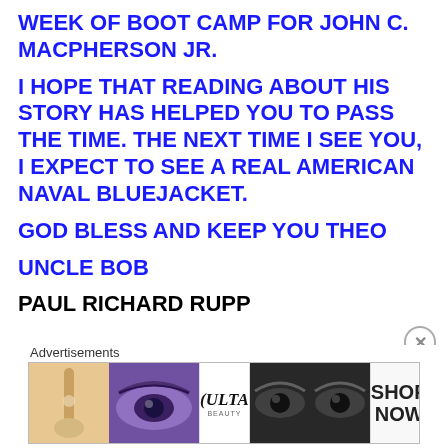WEEK OF BOOT CAMP FOR JOHN C. MACPHERSON JR.
I HOPE THAT READING ABOUT HIS STORY HAS HELPED YOU TO PASS THE TIME. THE NEXT TIME I SEE YOU, I EXPECT TO SEE A REAL AMERICAN NAVAL BLUEJACKET.
GOD BLESS AND KEEP YOU THEO
UNCLE BOB
PAUL RICHARD RUPP
[Figure (other): Ulta Beauty advertisement banner showing close-up beauty images (lips, makeup brush, eyes) alongside the Ulta logo and a SHOP NOW call to action]